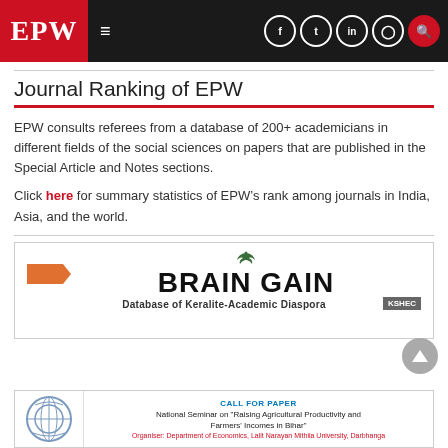EPW
Journal Ranking of EPW
EPW consults referees from a database of 200+ academicians in different fields of the social sciences on papers that are published in the Special Article and Notes sections.
Click here for summary statistics of EPW’s rank among journals in India, Asia, and the world.
[Figure (other): Brain Gain - Database of Keralite-Academic Diaspora advertisement banner with KSHEC badge]
[Figure (other): Call for Paper: National Seminar on Raising Agricultural Productivity and Farmers Incomes in Bihar]